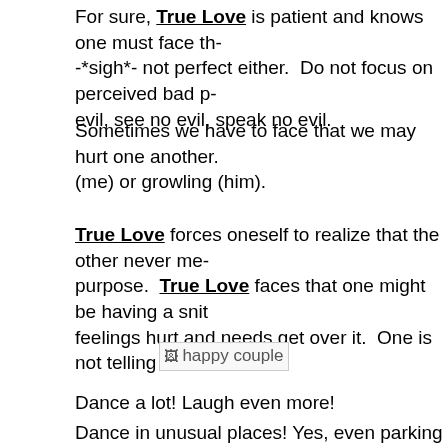For sure, True Love is patient and knows one must face th- -*sigh*- not perfect either.  Do not focus on perceived bad p- evil, see no evil, speak no evil.
Sometimes we have to face that we may hurt one another. (me) or growling (him).
True Love forces oneself to realize that the other never me- purpose.  True Love faces that one might be having a snit- feelings hurt and needs get over it.  One is not telling who t-
[Figure (photo): Broken image placeholder labeled 'happy couple']
Dance a lot! Laugh even more!
Dance in unusual places! Yes, even parking lots. Hear your speaker in the grocery store? Slow dance in the aisle.  It ju- because it is fun… unless it is the 15th and the entire worl- shopping.  Then people might fuss instead of smile at you.